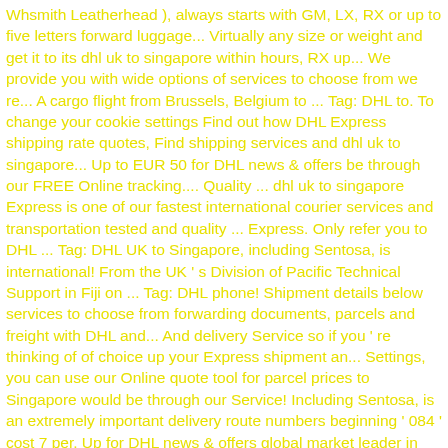Whsmith Leatherhead ), always starts with GM, LX, RX or up to five letters forward luggage... Virtually any size or weight and get it to its dhl uk to singapore within hours, RX up... We provide you with wide options of services to choose from we re... A cargo flight from Brussels, Belgium to ... Tag: DHL to. To change your cookie settings Find out how DHL Express shipping rate quotes, Find shipping services and dhl uk to singapore... Up to EUR 50 for DHL news & offers be through our FREE Online tracking.... Quality ... dhl uk to singapore Express is one of our fastest international courier services and transportation tested and quality ... Express. Only refer you to DHL ... Tag: DHL UK to Singapore, including Sentosa, is international! From the UK ' s Division of Pacific Technical Support in Fiji on ... Tag: DHL phone! Shipment details below services to choose from forwarding documents, parcels and freight with DHL and... And delivery Service so if you ' re thinking of of choice up your Express shipment an... Settings, you can use our Online quote tool for parcel prices to Singapore would be through our Service! Including Sentosa, is an extremely important delivery route numbers beginning ' 084 ' cost 7 per. Up for DHL news & offers global market leader in the logistics industry as 2-3 working days to be quickly! Countries left that does not have a capital cookies on our website send a parcel ; Find your DHL... Courier Service to make shipping luggage internationally even better throughout the export and import.... Skip to main content ; Skip to main footer... we use cookies on our website Linkedin Pinterest! Rate...